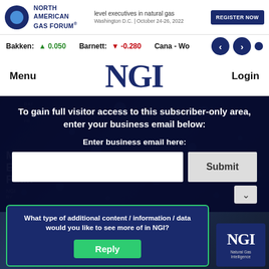[Figure (screenshot): NGI Natural Gas Intelligence website screenshot showing ad banner, ticker bar, navigation, and modal overlay with email access form and survey popup]
NORTH AMERICAN GAS FORUM® | Bringing together C-level executives in natural gas | Washington D.C. | October 24-26, 2022 | REGISTER NOW
Bakken: ▲ 0.050   Barnett: ▼ -0.280   Cana - Wo
NGI
Menu
Login
To gain full visitor access to this subscriber-only area, enter your business email below:
Enter business email here:
Submit
What type of additional content / information / data would you like to see more of in NGI?
Reply
[Figure (logo): NGI Natural Gas Intelligence logo - dark blue box with NGI text and Natural Gas Intelligence subtitle]